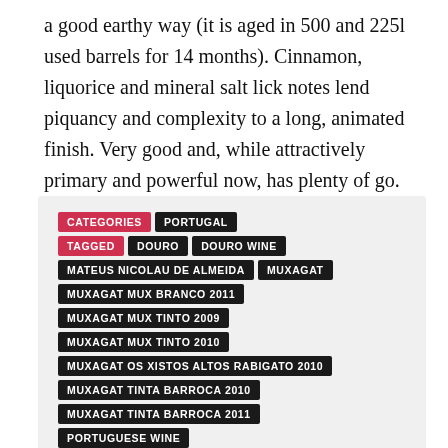a good earthy way (it is aged in 500 and 225l used barrels for 14 months). Cinnamon, liquorice and mineral salt lick notes lend piquancy and complexity to a long, animated finish. Very good and, while attractively primary and powerful now, has plenty of go. 13.5%
CATEGORIES: PORTUGAL
TAGGED: DOURO, DOURO WINE
MATEUS NICOLAU DE ALMEIDA, MUXAGAT
MUXAGAT MUX BRANCO 2011, MUXAGAT MUX TINTO 2009
MUXAGAT MUX TINTO 2010
MUXAGAT OS XISTOS ALTOS RABIGATO 2010
MUXAGAT TINTA BARROCA 2010, MUXAGAT TINTA BARROCA 2011
PORTUGUESE WINE
[Figure (infographic): Social share icons: plus (Google+), Facebook, Twitter, email/share, Pinterest]